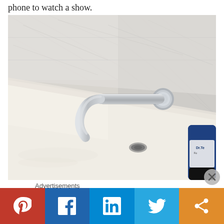phone to watch a show.
[Figure (photo): Close-up photograph of a chrome wall-mounted bathtub faucet spout in a white bathtub with marble tile walls. A blue Dr. Teal's bottle is partially visible in the bottom right corner.]
Advertisements
[Figure (other): Social media sharing bar with Pinterest (red), Facebook (blue), LinkedIn (light blue), Twitter (sky blue), and Share (orange) buttons]